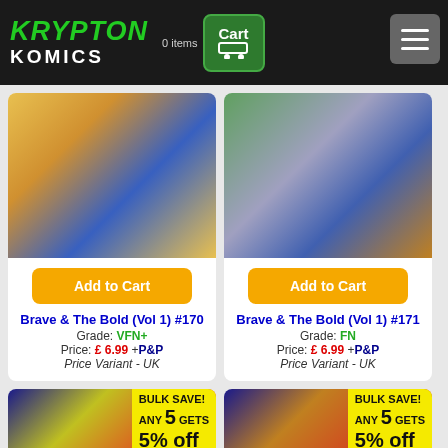Krypton Komics — 0 items — Cart
[Figure (photo): Comic book cover: Brave & The Bold Vol 1 #170]
Add to Cart
Brave & The Bold (Vol 1) #170
Grade: VFN+
Price: £ 6.99 +P&P
Price Variant - UK
[Figure (photo): Comic book cover: Brave & The Bold Vol 1 #171]
Add to Cart
Brave & The Bold (Vol 1) #171
Grade: FN
Price: £ 6.99 +P&P
Price Variant - UK
[Figure (photo): Comic book cover with BULK SAVE! badge: ANY 5 GETS 5% off]
[Figure (photo): Comic book cover with BULK SAVE! badge: ANY 5 GETS 5% off]